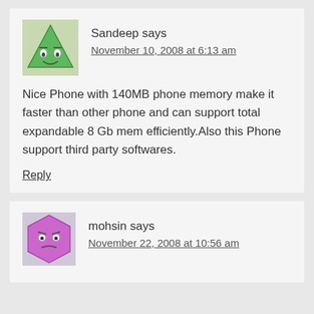[Figure (illustration): Green triangle cartoon avatar with a face (eyes and smile), on a light background]
Sandeep says
November 10, 2008 at 6:13 am
Nice Phone with 140MB phone memory make it faster than other phone and can support total expandable 8 Gb mem efficiently.Also this Phone support third party softwares.
Reply
[Figure (illustration): Pink/purple hexagonal cartoon avatar with a face (skeptical expression)]
mohsin says
November 22, 2008 at 10:56 am